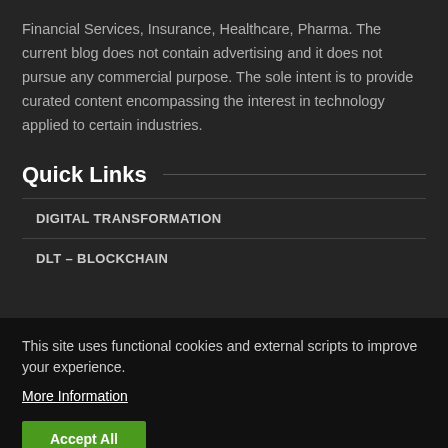Financial Services, Insurance, Healthcare, Pharma. The current blog does not contain advertising and it does not pursue any commercial purpose. The sole intent is to provide curated content encompassing the interest in technology applied to certain industries.
Quick Links
DIGITAL TRANSFORMATION
DLT – BLOCKCHAIN
This site uses functional cookies and external scripts to improve your experience. More Information
Accept All